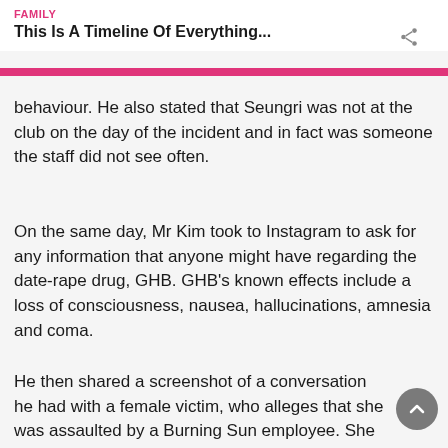FAMILY
This Is A Timeline Of Everything...
behaviour. He also stated that Seungri was not at the club on the day of the incident and in fact was someone the staff did not see often.
On the same day, Mr Kim took to Instagram to ask for any information that anyone might have regarding the date-rape drug, GHB. GHB's known effects include a loss of consciousness, nausea, hallucinations, amnesia and coma.
He then shared a screenshot of a conversation he had with a female victim, who alleges that she was assaulted by a Burning Sun employee. She then explains that she could not make a police report